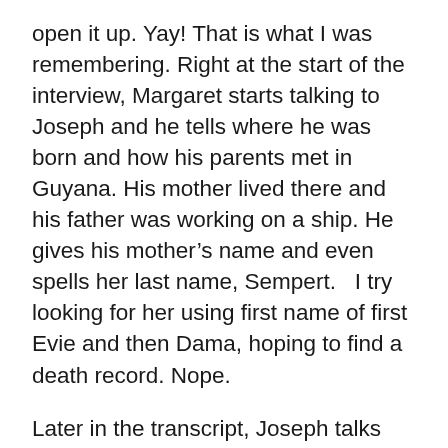open it up. Yay! That is what I was remembering. Right at the start of the interview, Margaret starts talking to Joseph and he tells where he was born and how his parents met in Guyana. His mother lived there and his father was working on a ship. He gives his mother's name and even spells her last name, Sempert.   I try looking for her using first name of first Evie and then Dama, hoping to find a death record. Nope.
Later in the transcript, Joseph talks about how his step mother, Otillia and his father, Joseph Howard met. She was teaching at Mississippi Industrial College in Holly Springs, MS.  Joseph